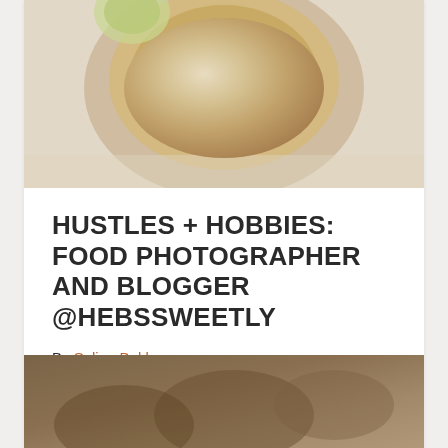[Figure (photo): Top-down food photography showing a bowl of food (appears to be salad or noodle dish) with garnish and lime, on a light cream/beige surface]
HUSTLES + HOBBIES: FOOD PHOTOGRAPHER AND BLOGGER @HEBSSWEETLY
By Selina Bakkar
We’ve spoken to Esra Alhamal about the art of Islamic illumination, Azeezat Adeola about mindfulness in knitting and how to get started and knitting for…
[Figure (photo): Partial view of a second food photo at the bottom of the page, showing a close-up blurred food image on a dark/warm brown background]